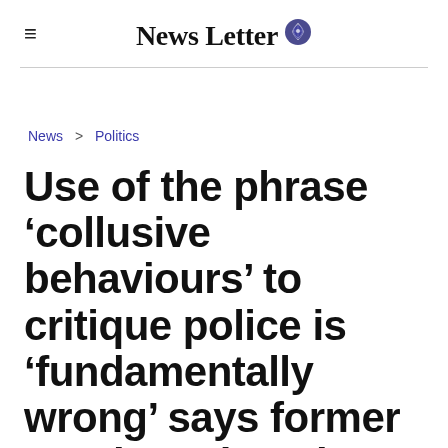News Letter
News > Politics
Use of the phrase ‘collusive behaviours’ to critique police is ‘fundamentally wrong’ says former top detective Alan Mains